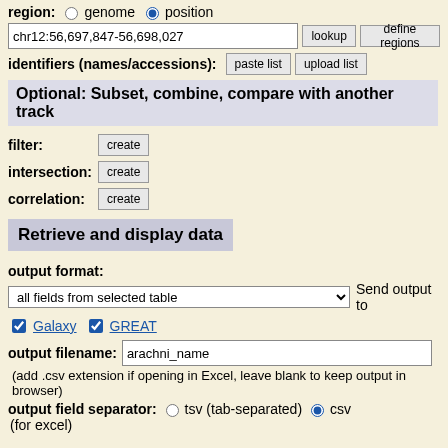region: ○ genome ● position
chr12:56,697,847-56,698,027  [lookup]  [define regions]
identifiers (names/accessions): [paste list]  [upload list]
Optional: Subset, combine, compare with another track
filter: [create]
intersection: [create]
correlation: [create]
Retrieve and display data
output format:
all fields from selected table  ▼  Send output to
☑ Galaxy  ☑ GREAT
output filename:  arachni_name
(add .csv extension if opening in Excel, leave blank to keep output in browser)
output field separator: ○ tsv (tab-separated) ● csv (for excel)